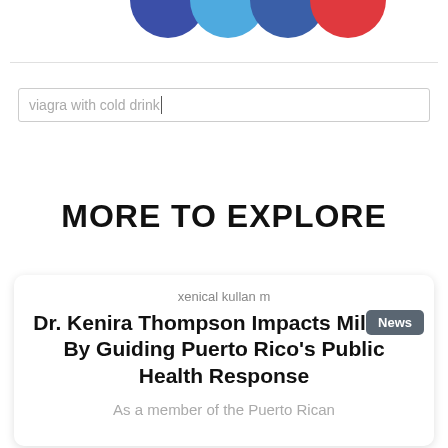[Figure (illustration): Four partial circles at top: dark blue, light blue, dark blue/navy, red]
viagra with cold drink
MORE TO EXPLORE
xenical kullan m
Dr. Kenira Thompson Impacts Millions By Guiding Puerto Rico's Public Health Response
As a member of the Puerto Rican